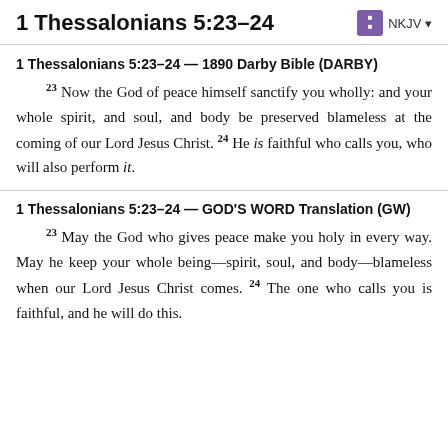1 Thessalonians 5:23–24
1 Thessalonians 5:23–24 — 1890 Darby Bible (DARBY)
23 Now the God of peace himself sanctify you wholly: and your whole spirit, and soul, and body be preserved blameless at the coming of our Lord Jesus Christ. 24 He is faithful who calls you, who will also perform it.
1 Thessalonians 5:23–24 — GOD'S WORD Translation (GW)
23 May the God who gives peace make you holy in every way. May he keep your whole being—spirit, soul, and body—blameless when our Lord Jesus Christ comes. 24 The one who calls you is faithful, and he will do this.